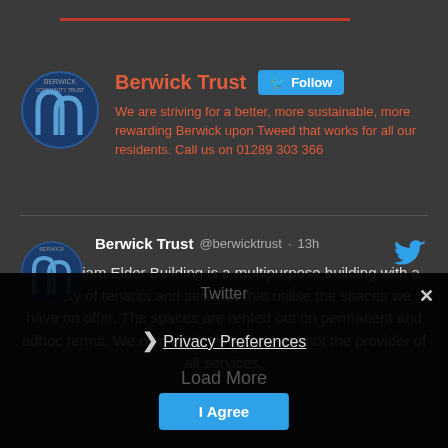[Figure (logo): Berwick Community Trust logo - blue arch symbol in circle]
Berwick Trust  Follow
We are striving for a better, more sustainable, more rewarding Berwick upon Tweed that works for all our residents. Call us on 01289 303 366
[Figure (logo): Berwick Community Trust logo - blue arch symbol]
Berwick Trust @berwicktrust · 13h
The William Elder Building is a multipurpose building with a variety of tenants and services that utilise the spaces we have on offer. The spaces are rented out on permanent and adhoc terms. We own the building, we are not the provider of all services.
Twitter
Privacy Preferences
Learn More
I Agree